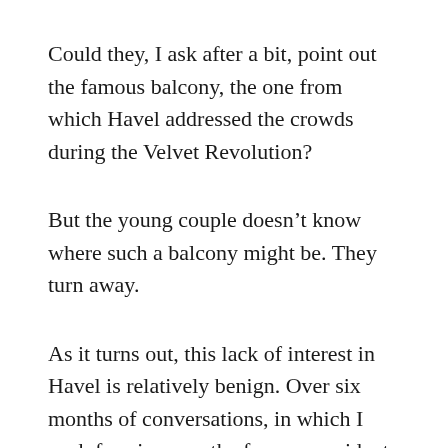Could they, I ask after a bit, point out the famous balcony, the one from which Havel addressed the crowds during the Velvet Revolution?
But the young couple doesn't know where such a balcony might be. They turn away.
As it turns out, this lack of interest in Havel is relatively benign. Over six months of conversations, in which I push for views on the former president, the understanding I have brought from America takes a